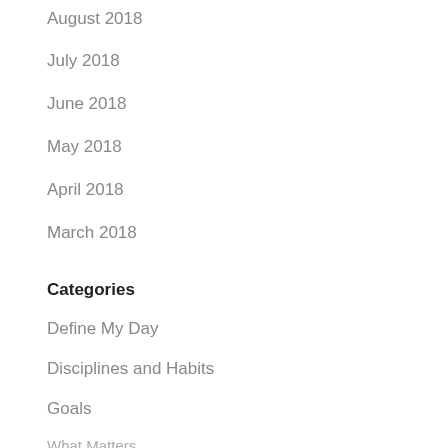August 2018
July 2018
June 2018
May 2018
April 2018
March 2018
Categories
Define My Day
Disciplines and Habits
Goals
Path to Purpose
Uncategorized
What Matters